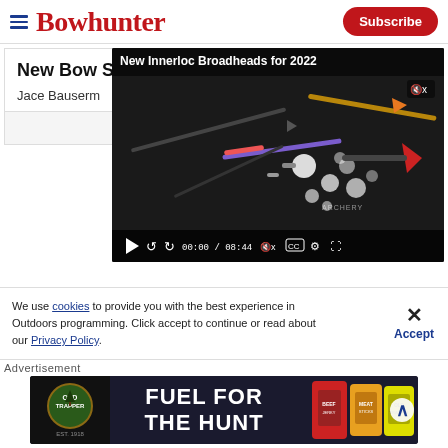Bowhunter — Subscribe
New Bow Sights for 2022
Jace Bauserm...
[Figure (screenshot): Video player showing 'New Innerloc Broadheads for 2022' with broadhead products visible, timecode 00:00 / 08:44, muted, with CC and settings controls]
We use cookies to provide you with the best experience in Outdoors programming. Click accept to continue or read about our Privacy Policy.
[Figure (photo): Old Trapper advertisement: FUEL FOR THE HUNT with product images on dark background]